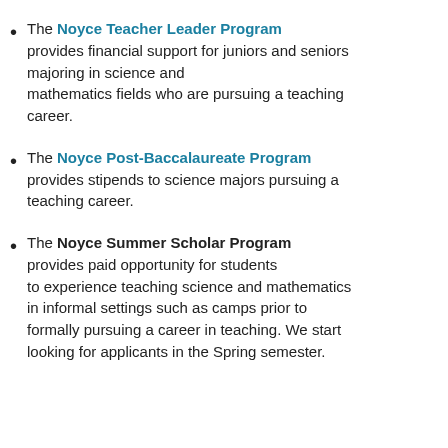The Noyce Teacher Leader Program provides financial support for juniors and seniors majoring in science and mathematics fields who are pursuing a teaching career.
The Noyce Post-Baccalaureate Program provides stipends to science majors pursuing a teaching career.
The Noyce Summer Scholar Program provides paid opportunity for students to experience teaching science and mathematics in informal settings such as camps prior to formally pursuing a career in teaching. We start looking for applicants in the Spring semester.